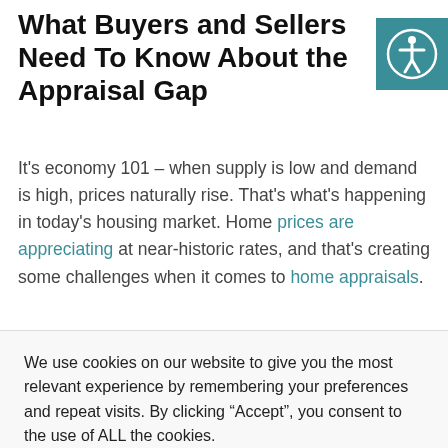What Buyers and Sellers Need To Know About the Appraisal Gap
It’s economy 101 – when supply is low and demand is high, prices naturally rise. That’s what’s happening in today’s housing market. Home prices are appreciating at near-historic rates, and that’s creating some challenges when it comes to home appraisals.
We use cookies on our website to give you the most relevant experience by remembering your preferences and repeat visits. By clicking “Accept”, you consent to the use of ALL the cookies.
Cookie settings  ACCEPT
...mmon for an ...on the house. ...explains it like t...
...ces above listing ...ailable to appraisers can support. This difference is known as ‘the